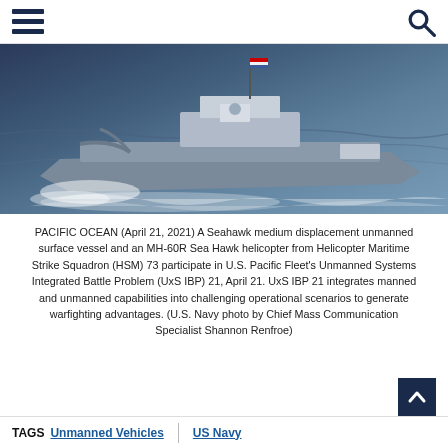Navigation menu and search icon
[Figure (photo): Aerial view of a Seahawk medium displacement unmanned surface vessel moving through the Pacific Ocean with white wake, with U.S. flag visible on a mast.]
PACIFIC OCEAN (April 21, 2021) A Seahawk medium displacement unmanned surface vessel and an MH-60R Sea Hawk helicopter from Helicopter Maritime Strike Squadron (HSM) 73 participate in U.S. Pacific Fleet's Unmanned Systems Integrated Battle Problem (UxS IBP) 21, April 21. UxS IBP 21 integrates manned and unmanned capabilities into challenging operational scenarios to generate warfighting advantages. (U.S. Navy photo by Chief Mass Communication Specialist Shannon Renfroe)
TAGS   Unmanned Vehicles   US Navy